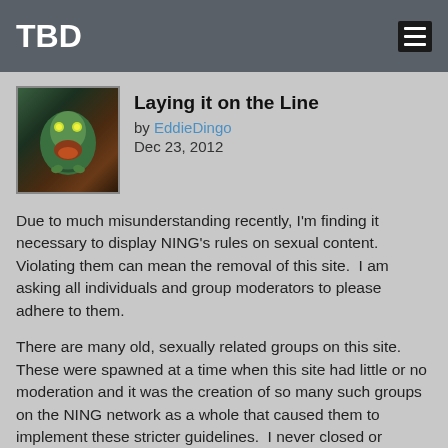TBD
Laying it on the Line
by EddieDingo
Dec 23, 2012
Due to much misunderstanding recently, I'm finding it necessary to display NING's rules on sexual content. Violating them can mean the removal of this site.  I am asking all individuals and group moderators to please adhere to them.
There are many old, sexually related groups on this site. These were spawned at a time when this site had little or no moderation and it was the creation of so many such groups on the NING network as a whole that caused them to implement these stricter guidelines.  I never closed or removed the old groups because the nature of our membership when I took ownership of this site gave